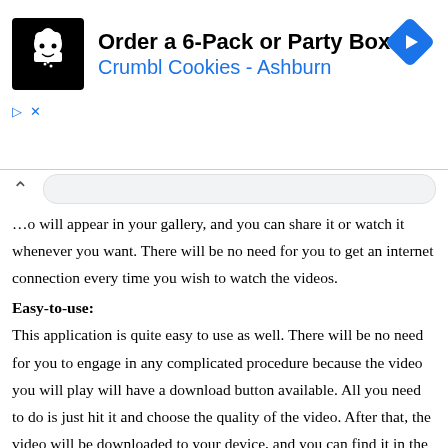[Figure (other): Advertisement banner for Crumbl Cookies - Ashburn. Shows a black logo with a cookie/chef icon, text 'Order a 6-Pack or Party Box' in bold and 'Crumbl Cookies - Ashburn' in blue, and a blue diamond navigation icon on the right. Below are ad controls with play and close (X) buttons.]
...o will appear in your gallery, and you can share it or watch it whenever you want. There will be no need for you to get an internet connection every time you wish to watch the videos.
Easy-to-use:
This application is quite easy to use as well. There will be no need for you to engage in any complicated procedure because the video you will play will have a download button available. All you need to do is just hit it and choose the quality of the video. After that, the video will be downloaded to your device, and you can find it in the destined folder.
It's simple to use.